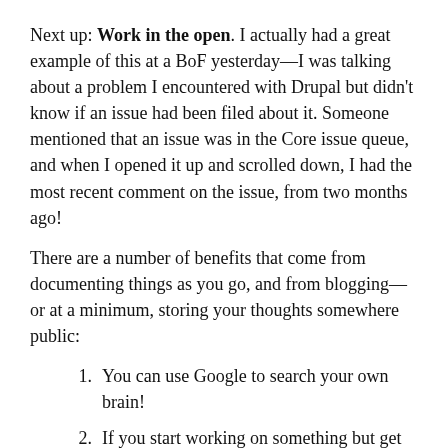Next up: Work in the open. I actually had a great example of this at a BoF yesterday—I was talking about a problem I encountered with Drupal but didn't know if an issue had been filed about it. Someone mentioned that an issue was in the Core issue queue, and when I opened it up and scrolled down, I had the most recent comment on the issue, from two months ago!
There are a number of benefits that come from documenting things as you go, and from blogging—or at a minimum, storing your thoughts somewhere public:
You can use Google to search your own brain!
If you start working on something but get stuck, or need to switch gears, someone else can pick up where you left off and push the issue through to completion.
Other people get their own problems resolved by seeing what you wrote. If it stays in your head or in a private journal, chances are nobody (including yourself) will